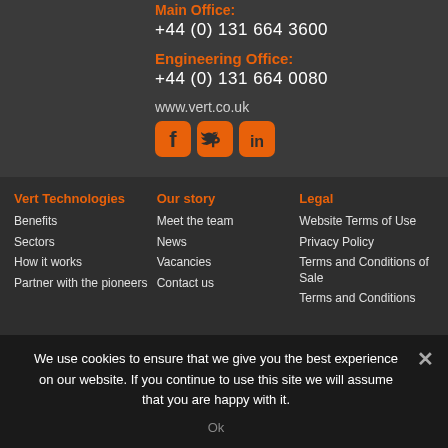Main Office:
+44 (0) 131 664 3600
Engineering Office:
+44 (0) 131 664 0080
www.vert.co.uk
[Figure (illustration): Social media icons: Facebook, Twitter, LinkedIn in orange rounded squares]
Vert Technologies
Benefits
Sectors
How it works
Partner with the pioneers
Our story
Meet the team
News
Vacancies
Contact us
Legal
Website Terms of Use
Privacy Policy
Terms and Conditions of Sale
Terms and Conditions
We use cookies to ensure that we give you the best experience on our website. If you continue to use this site we will assume that you are happy with it.
Ok